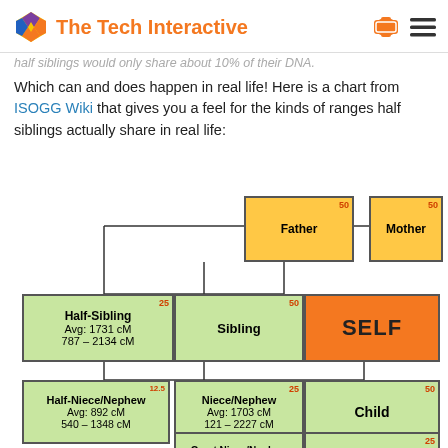The Tech Interactive
half siblings would only share about 10% of their DNA.
Which can and does happen in real life! Here is a chart from ISOGG Wiki that gives you a feel for the kinds of ranges half siblings actually share in real life:
[Figure (organizational-chart): Family tree / kinship chart showing Father and Mother at top with 50 markers, Half-Sibling (Avg: 1731 cM, 787-2134 cM) with 25 marker, Sibling with 50 marker, SELF (orange box), Half-Niece/Nephew (Avg: 892 cM, 540-1348 cM) with 12.5 marker, Niece/Nephew (Avg: 1703 cM, 121-2227 cM) with 25 marker, Child with 50 marker, Great Niece/Nephew (Avg: 844 cM, 226-1201 cM), Grandchild (Avg: 1760 cM) with 25 marker]